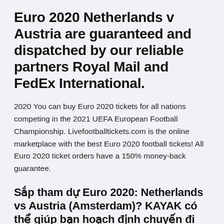Euro 2020 Netherlands v Austria are guaranteed and dispatched by our reliable partners Royal Mail and FedEx International.
2020 You can buy Euro 2020 tickets for all nations competing in the 2021 UEFA European Football Championship. Livefootballtickets.com is the online marketplace with the best Euro 2020 football tickets! All Euro 2020 ticket orders have a 150% money-back guarantee.
Sắp tham dự Euro 2020: Netherlands vs Austria (Amsterdam)? KAYAK có thể giúp bạn hoạch định chuyến đi bằng cách so sánh tốt nhất các chuyến đi bằng đường hàng không